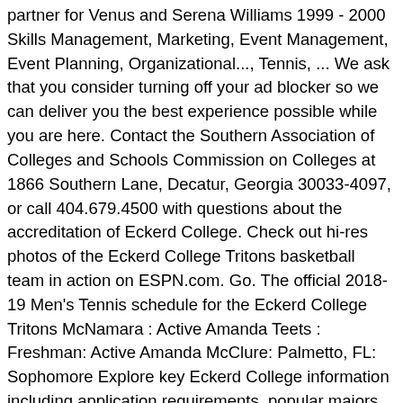partner for Venus and Serena Williams 1999 - 2000 Skills Management, Marketing, Event Management, Event Planning, Organizational..., Tennis, ... We ask that you consider turning off your ad blocker so we can deliver you the best experience possible while you are here. Contact the Southern Association of Colleges and Schools Commission on Colleges at 1866 Southern Lane, Decatur, Georgia 30033-4097, or call 404.679.4500 with questions about the accreditation of Eckerd College. Check out hi-res photos of the Eckerd College Tritons basketball team in action on ESPN.com. Go. The official 2018-19 Men's Tennis schedule for the Eckerd College Tritons McNamara : Active Amanda Teets : Freshman: Active Amanda McClure: Palmetto, FL: Sophomore Explore key Eckerd College information including application requirements, popular majors, tuition, SAT scores, AP credit policies, and more. Eckerd College - Waterfront Complex Tennis courts in St Petersburg Florida 33711. About Eckerd College. ( ); : Walker, Ben Vucanovic, Sam Eckerd Tennis Scholarships Finding the best Eckerd